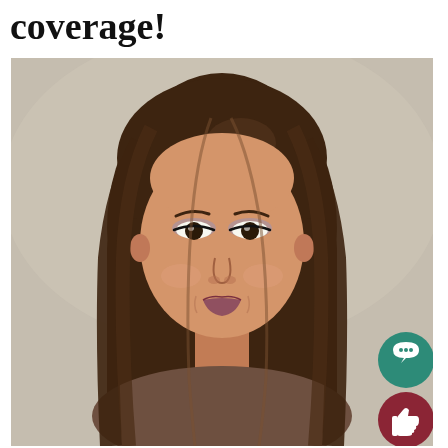coverage!
[Figure (photo): Headshot portrait of a young woman with long brown hair, light makeup including purple eyeshadow, smiling slightly, against a neutral gray-beige background. Two UI overlay buttons (chat and like) visible in the bottom-right corner.]